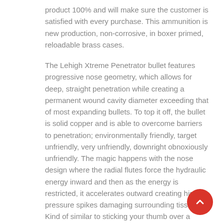product 100% and will make sure the customer is satisfied with every purchase. This ammunition is new production, non-corrosive, in boxer primed, reloadable brass cases.
The Lehigh Xtreme Penetrator bullet features progressive nose geometry, which allows for deep, straight penetration while creating a permanent wound cavity diameter exceeding that of most expanding bullets. To top it off, the bullet is solid copper and is able to overcome barriers to penetration; environmentally friendly, target unfriendly, very unfriendly, downright obnoxiously unfriendly. The magic happens with the nose design where the radial flutes force the hydraulic energy inward and then as the energy is restricted, it accelerates outward creating high pressure spikes damaging surrounding tissue. Kind of similar to sticking your thumb over a garden hose. The permanent wound cavity of the XP is from two to four times greater than what a flat or ball nose bullet generates and often larger than traditional expanding bullets. So what you get is exceptional penetration coupled with a larger permanent wound cavity. The solid copper alloy construction will not deform when